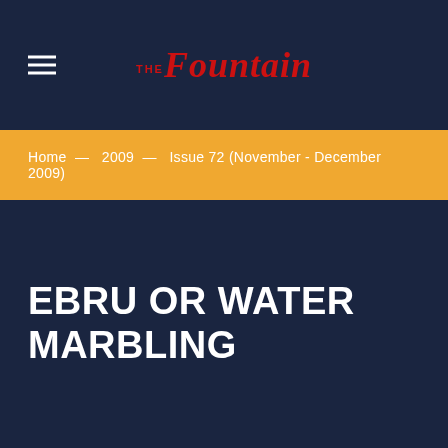THE Fountain
Home — 2009 — Issue 72 (November - December 2009)
EBRU OR WATER MARBLING